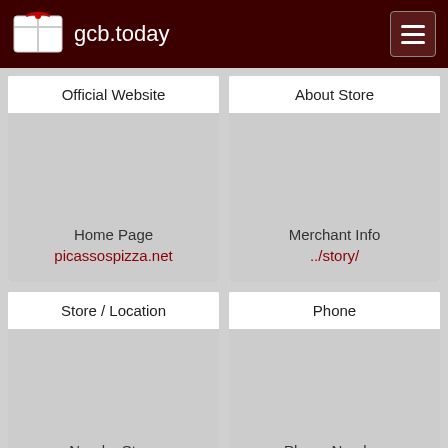gcb.today
Official Website
Home Page
picassospizza.net
About Store
Merchant Info
../story/
Store / Location
Nearby Store
../locations/
Phone
Phone Number
+1-888-494-9760